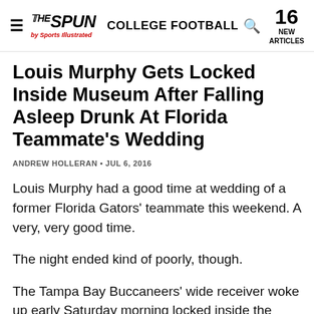THE SPUN by Sports Illustrated — COLLEGE FOOTBALL — 16 NEW ARTICLES
Louis Murphy Gets Locked Inside Museum After Falling Asleep Drunk At Florida Teammate's Wedding
ANDREW HOLLERAN • JUL 6, 2016
Louis Murphy had a good time at wedding of a former Florida Gators' teammate this weekend. A very, very good time.
The night ended kind of poorly, though.
The Tampa Bay Buccaneers' wide receiver woke up early Saturday morning locked inside the Flagler Museum, where former Florida